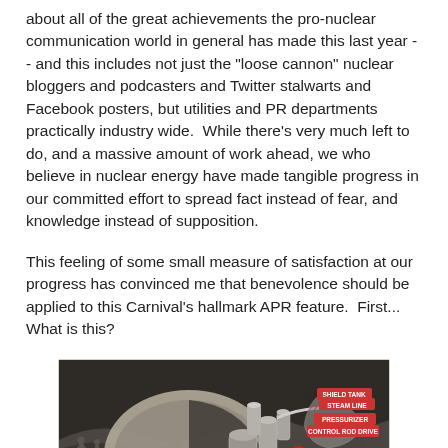about all of the great achievements the pro-nuclear communication world in general has made this last year -- and this includes not just the "loose cannon" nuclear bloggers and podcasters and Twitter stalwarts and Facebook posters, but utilities and PR departments practically industry wide.  While there's very much left to do, and a massive amount of work ahead, we who believe in nuclear energy have made tangible progress in our committed effort to spread fact instead of fear, and knowledge instead of supposition.
This feeling of some small measure of satisfaction at our progress has convinced me that benevolence should be applied to this Carnival's hallmark APR feature.  First... What is this?
[Figure (schematic): Vintage cutaway diagram of a nuclear reactor showing labeled components including Steam Line, Pressurizer, Control Rod Drive, Shield Tank, Reactor Vessel, and Super Container. A red numbered circle (1) marks the Reactor Vessel. Two human figures are visible at left for scale. The illustration is in a dark duotone style typical of mid-20th century technical publications.]